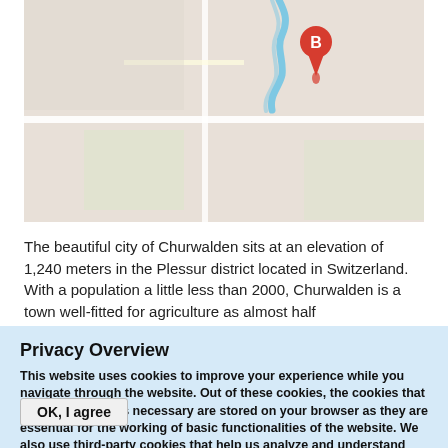[Figure (map): Google Maps view showing a location pin marker labeled 'B' with a red teardrop pin, a blue river or water feature nearby, and a grey road/terrain map background.]
The beautiful city of Churwalden sits at an elevation of 1,240 meters in the Plessur district located in Switzerland. With a population a little less than 2000, Churwalden is a town well-fitted for agriculture as almost half
Privacy Overview
This website uses cookies to improve your experience while you navigate through the website. Out of these cookies, the cookies that are categorized as necessary are stored on your browser as they are essential for the working of basic functionalities of the website. We also use third-party cookies that help us analyze and understand how you use this website. More information
OK, I agree